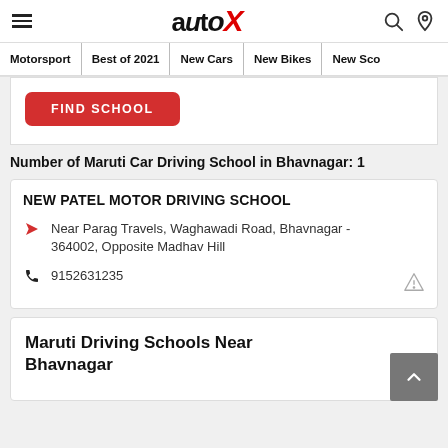autoX — Motorsport | Best of 2021 | New Cars | New Bikes | New Sco…
[Figure (screenshot): Red FIND SCHOOL button]
Number of Maruti Car Driving School in Bhavnagar: 1
NEW PATEL MOTOR DRIVING SCHOOL
Near Parag Travels, Waghawadi Road, Bhavnagar - 364002, Opposite Madhav Hill
9152631235
Maruti Driving Schools Near Bhavnagar